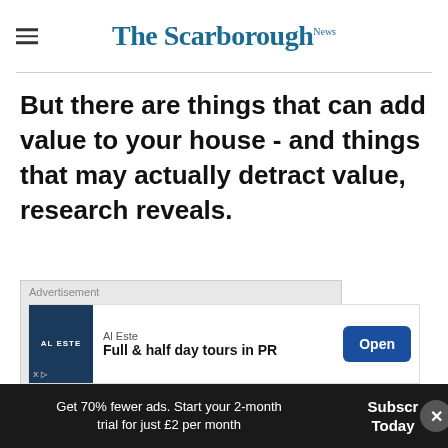The Scarborough News
But there are things that can add value to your house - and things that may actually detract value, research reveals.
[Figure (other): Advertisement placeholder box (grey background)]
[Figure (other): Banner advertisement: Al Este - Full & half day tours in PR, with Open button]
Get 70% fewer ads. Start your 2-month trial for just £2 per month
Subscribe Today